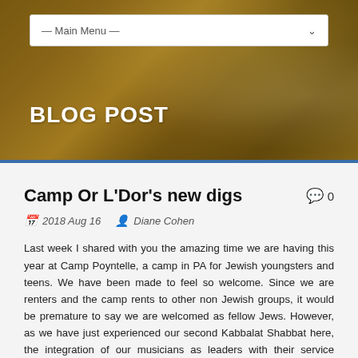— Main Menu —
BLOG POST
Camp Or L'Dor's new digs
2018 Aug 16   Diane Cohen
Last week I shared with you the amazing time we are having this year at Camp Poyntelle, a camp in PA for Jewish youngsters and teens. We have been made to feel so welcome. Since we are renters and the camp rents to other non Jewish groups, it would be premature to say we are welcomed as fellow Jews. However, as we have just experienced our second Kabbalat Shabbat here, the integration of our musicians as leaders with their service leaders clearly is an event that would not be made available in